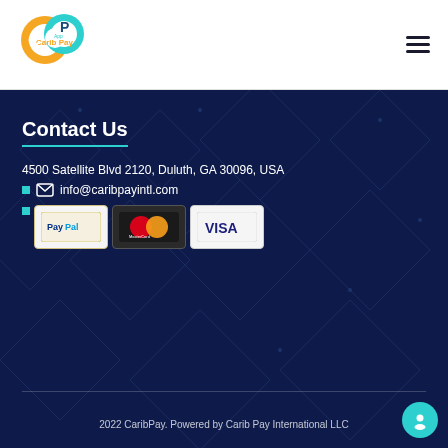[Figure (logo): Carib Pay App logo — orange and teal interlocking circular letters C and P]
[Figure (illustration): Hamburger menu icon (three horizontal bars)]
Contact Us
4500 Satellite Blvd 2120, Duluth, GA 30096, USA
info@caribpayintl.com
[Figure (illustration): Payment logos: PayPal, MasterCard, VISA]
2022 CaribPay. Powered by Carib Pay International LLC